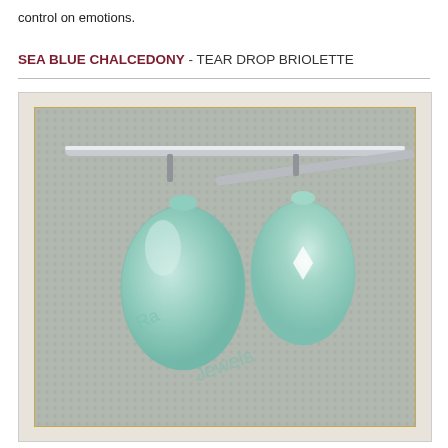control on emotions.
SEA BLUE CHALCEDONY - TEAR DROP BRIOLETTE
[Figure (photo): Two sea blue chalcedony tear drop briolette gemstones hanging from a silver bar/rod against a textured grey background. The stones are translucent aqua/mint green in color with a tear drop shape. A watermark reading 'Ra Jewels' is visible on the image.]